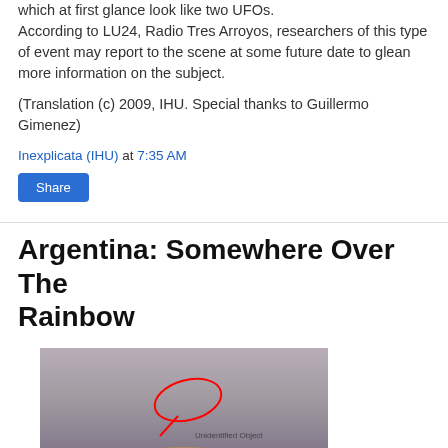which at first glance look like two UFOs. According to LU24, Radio Tres Arroyos, researchers of this type of event may report to the scene at some future date to glean more information on the subject.
(Translation (c) 2009, IHU. Special thanks to Guillermo Gimenez)
Inexplicata (IHU) at 7:35 AM
Share
Argentina: Somewhere Over The Rainbow
[Figure (photo): A hazy sky photo with a rainbow arc visible at the bottom. A red hand-drawn oval circle marks an 'Unidentified Object' in the center of the image, with a small tail line and label text reading 'Unidentified Object'.]